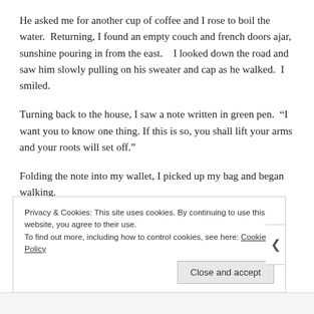He asked me for another cup of coffee and I rose to boil the water.  Returning, I found an empty couch and french doors ajar, sunshine pouring in from the east.    I looked down the road and saw him slowly pulling on his sweater and cap as he walked.  I smiled.
Turning back to the house, I saw a note written in green pen.  “I want you to know one thing. If this is so, you shall lift your arms and your roots will set off.”
Folding the note into my wallet, I picked up my bag and began walking.
Privacy & Cookies: This site uses cookies. By continuing to use this website, you agree to their use.
To find out more, including how to control cookies, see here: Cookie Policy